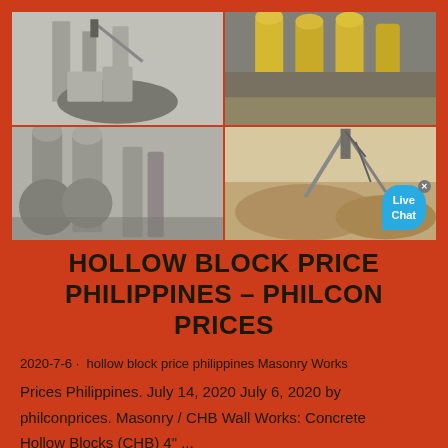[Figure (photo): Four-panel industrial photo collage showing cement/aggregate manufacturing facilities: top-left shows grey industrial silos and conveyor with aggregate pile; top-right shows yellow industrial cyclone dust collectors in a warehouse; bottom-left shows large grey grinding mills and silos in industrial building; bottom-right shows aggregate/gravel mounds with conveyor structure and blue Live Chat bubble overlay]
HOLLOW BLOCK PRICE PHILIPPINES – PHILCON PRICES
2020-7-6 · hollow block price philippines Masonry Works
Prices Philippines. July 14, 2020 July 6, 2020 by philconprices. Masonry / CHB Wall Works: Concrete Hollow Blocks (CHB) 4" ...